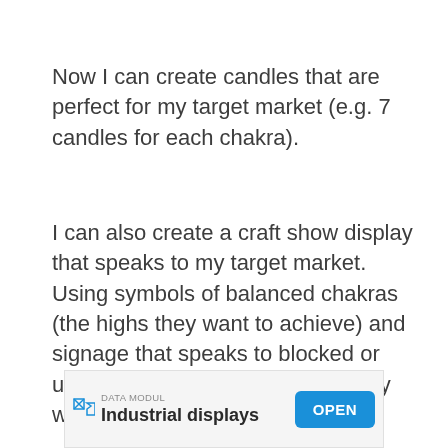Now I can create candles that are perfect for my target market (e.g. 7 candles for each chakra).
I can also create a craft show display that speaks to my target market. Using symbols of balanced chakras (the highs they want to achieve) and signage that speaks to blocked or unbalanced chakras (the lows they want to avoid).
[Figure (other): Advertisement banner: DATA MODUL — Industrial displays — OPEN button]